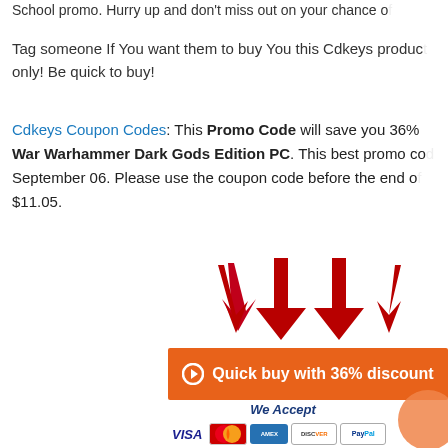School promo. Hurry up and don't miss out on your chance of
Tag someone If You want them to buy You this Cdkeys product only! Be quick to buy!
Cdkeys Coupon Codes: This Promo Code will save you 36% War Warhammer Dark Gods Edition PC. This best promo code September 06. Please use the coupon code before the end of $11.05.
[Figure (illustration): Four red arrows pointing downward]
[Figure (infographic): Orange button with text: Quick buy with 36% discount]
[Figure (illustration): We Accept payment icons: VISA, MasterCard, American Express, Discover, PayPal]